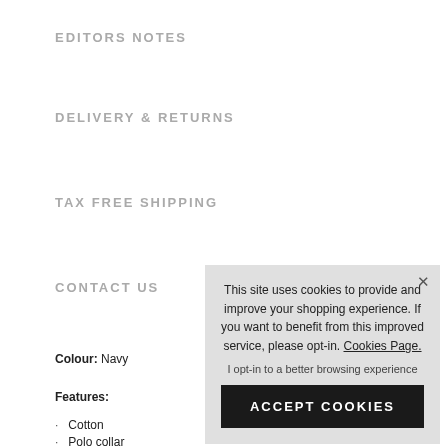EDITORS NOTES
DELIVERY & RETURNS
TAX FREE SHIPPING
CONTACT US
Colour: Navy
Features:
Cotton
Polo collar
Front button pl
Short sleeves
Logo print on c
Branded cuffs
[Figure (screenshot): Cookie consent popup overlay with text: 'This site uses cookies to provide and improve your shopping experience. If you want to benefit from this improved service, please opt-in. Cookies Page.' with an opt-in link and ACCEPT COOKIES button.]